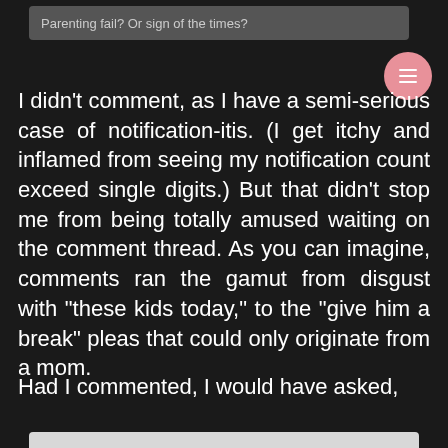Parenting fail? Or sign of the times?
I didn't comment, as I have a semi-serious case of notification-itis. (I get itchy and inflamed from seeing my notification count exceed single digits.) But that didn't stop me from being totally amused waiting on the comment thread. As you can imagine, comments ran the gamut from disgust with "these kids today," to the "give him a break" pleas that could only originate from a mom.
Had I commented, I would have asked,